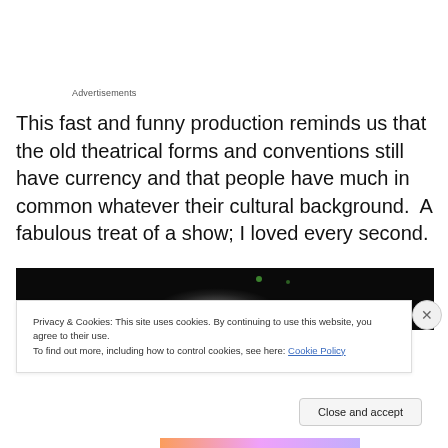Advertisements
This fast and funny production reminds us that the old theatrical forms and conventions still have currency and that people have much in common whatever their cultural background.  A fabulous treat of a show; I loved every second.
[Figure (photo): Dark stage photo with smoke effect and green bokeh lights on black background]
Privacy & Cookies: This site uses cookies. By continuing to use this website, you agree to their use.
To find out more, including how to control cookies, see here: Cookie Policy
Close and accept